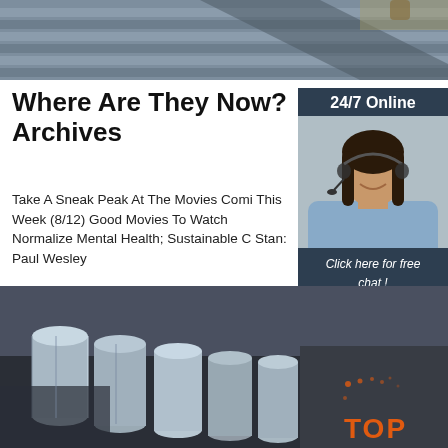[Figure (photo): Top banner showing bundled steel rebar or metal rods, industrial setting]
Where Are They Now? Archives
Take A Sneak Peak At The Movies Comi This Week (8/12) Good Movies To Watch Normalize Mental Health; Sustainable C Stan: Paul Wesley
[Figure (other): Green Get Price button]
[Figure (other): Sidebar: 24/7 Online chat widget with woman wearing headset, Click here for free chat, QUOTATION button]
[Figure (photo): Bottom image showing galvanized steel pipes or rods in industrial setting with TOP logo watermark]